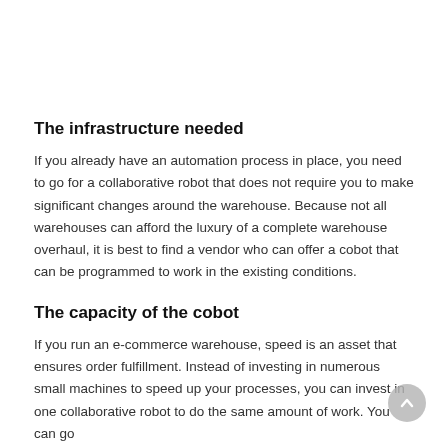The infrastructure needed
If you already have an automation process in place, you need to go for a collaborative robot that does not require you to make significant changes around the warehouse. Because not all warehouses can afford the luxury of a complete warehouse overhaul, it is best to find a vendor who can offer a cobot that can be programmed to work in the existing conditions.
The capacity of the cobot
If you run an e-commerce warehouse, speed is an asset that ensures order fulfillment. Instead of investing in numerous small machines to speed up your processes, you can invest in one collaborative robot to do the same amount of work. You can go